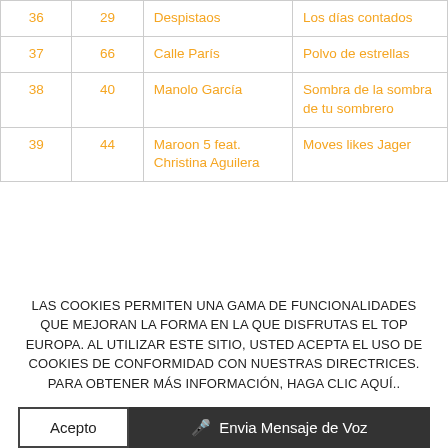| # | Pts | Artista | Canción |
| --- | --- | --- | --- |
| 36 | 29 | Despistaos | Los días contados |
| 37 | 66 | Calle París | Polvo de estrellas |
| 38 | 40 | Manolo García | Sombra de la sombra de tu sombrero |
| 39 | 44 | Maroon 5 feat. Christina Aguilera | Moves likes Jager |
LAS COOKIES PERMITEN UNA GAMA DE FUNCIONALIDADES QUE MEJORAN LA FORMA EN LA QUE DISFRUTAS EL TOP EUROPA. AL UTILIZAR ESTE SITIO, USTED ACEPTA EL USO DE COOKIES DE CONFORMIDAD CON NUESTRAS DIRECTRICES. PARA OBTENER MÁS INFORMACIÓN, HAGA CLIC AQUÍ..